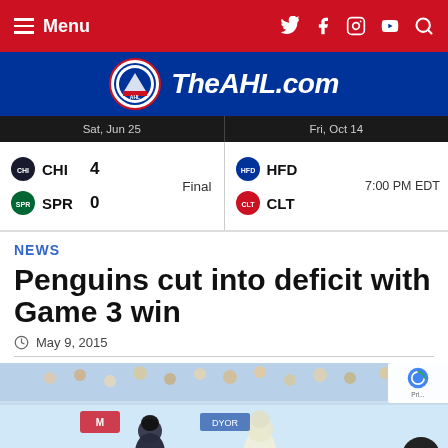Menu | TheAHL.com navigation
[Figure (screenshot): TheAHL.com website header with red nav bar showing Menu and social media icons, blue AHL logo header]
| Game 1 | Game 2 |
| --- | --- |
| CHI 4 vs SPR 0 — Final (Sat, Jun 25) | HFD vs CLT — 7:00 PM EDT (Fri, Oct 14) |
NEWS
Penguins cut into deficit with Game 3 win
May 9, 2015
[Figure (photo): Hockey players on ice during a game, crowd visible in background]